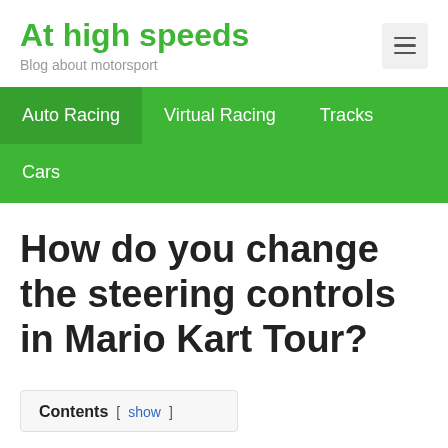At high speeds — Blog about motorsport
Auto Racing
Virtual Racing
Tracks
Cars
How do you change the steering controls in Mario Kart Tour?
Contents [ show ]